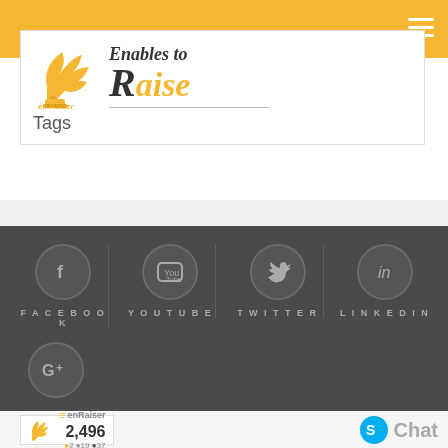[Figure (logo): enRaiser logo with winged foot and text 'Enables to Raise' with Tags subtitle]
[Figure (infographic): Social media icons section: Facebook, YouTube, Twitter, LinkedIn, Google+ on dark gray background]
[Figure (screenshot): Bottom preview card showing enRaiser branding with count 2,496 and dot indicators, plus Skype Chat button]